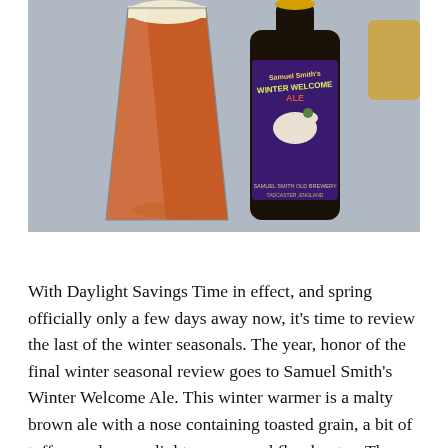[Figure (photo): A pint glass filled with amber/red beer with a white foamy head on the left, and a bottle of Samuel Smith's Winter Welcome Ale on the right, with a colorful label featuring a horse and rider. Photo taken on a gray background.]
With Daylight Savings Time in effect, and spring officially only a few days away now, it's time to review the last of the winter seasonals. The year, honor of the final winter seasonal review goes to Samuel Smith's Winter Welcome Ale. This winter warmer is a malty brown ale with a nose containing toasted grain, a bit of toffee, and some slight orange, and floral notes. The middle has a very malty base and...